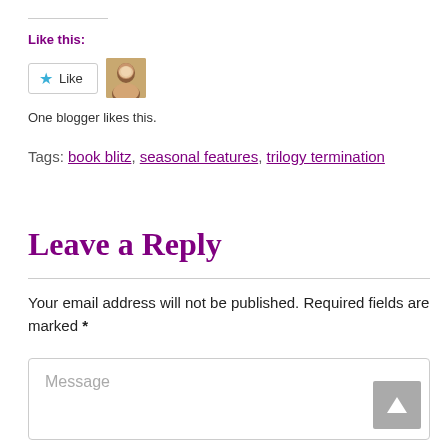Like this:
[Figure (other): Like button with star icon and blogger avatar]
One blogger likes this.
Tags: book blitz, seasonal features, trilogy termination
Leave a Reply
Your email address will not be published. Required fields are marked *
[Figure (other): Message text input area with scroll-to-top button]